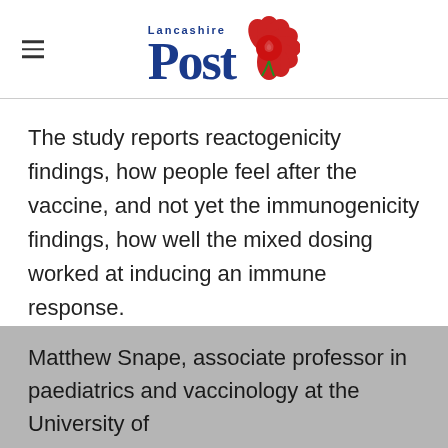Lancashire Post
The study reports reactogenicity findings, how people feel after the vaccine, and not yet the immunogenicity findings, how well the mixed dosing worked at inducing an immune response.
'Could result in increased work absences'
Matthew Snape, associate professor in paediatrics and vaccinology at the University of